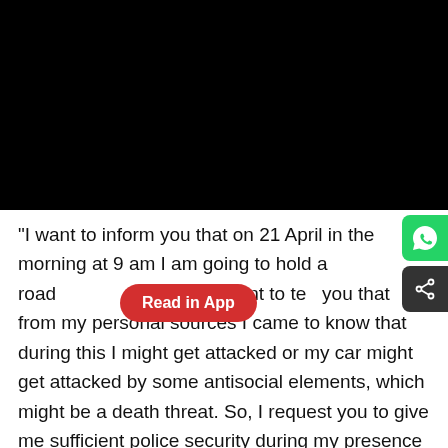[Figure (photo): Black rectangular image area occupying the top portion of the page]
"I want to inform you that on 21 April in the morning at 9 am I am going to hold a road [blocked] ar Rural. I want to tell you that from my personal sources I came to know that during this I might get attacked or my car might get attacked by some antisocial elements, which might be a death threat. So, I request you to give me sufficient police security during my presence in Jamnagar district," the letter stated.